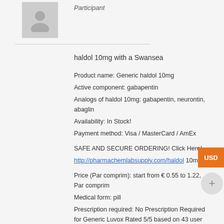[Figure (illustration): Grey silhouette avatar placeholder image]
Participant
haldol 10mg with a Swansea
Product name: Generic haldol 10mg
Active component: gabapentin
Analogs of haldol 10mg: gabapentin, neurontin, abaglin
Availability: In Stock!
Payment method: Visa / MasterCard / AmEx

SAFE AND SECURE ORDERING! Click Here!
http://pharmachemlabsupply.com/haldol 10mg

Price (Par comprim): start from € 0.55 to 1.22, Par comprim
Medical form: pill
Prescription required: No Prescription Required for Generic Luvox Rated 5/5 based on 43 user votes.
Info: Neurontin is used for treating seizures associated with epilepsy.

buy haldol 10mg online australia,
buy haldol 10mg valium online